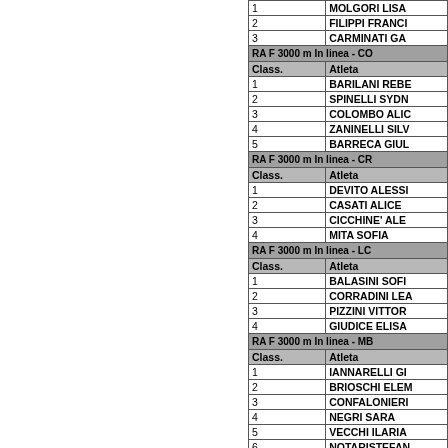| Class. | Atleta |
| --- | --- |
| 1 | MOLGORI LISA |
| 2 | FILIPPI FRANCI |
| 3 | CARMINATI GA |
| RA F 3000 m In linea - CO |  |
| Class. | Atleta |
| 1 | BARILANI REBE |
| 2 | SPINELLI SYDN |
| 3 | COLOMBO ALIC |
| 4 | ZANINELLI SILV |
| 5 | BARRECA GIUL |
| RA F 3000 m In linea - CR |  |
| Class. | Atleta |
| 1 | DEVITO ALESSI |
| 2 | CASATI ALICE |
| 3 | CICCHINE' ALE |
| 4 | MITA SOFIA |
| RA F 3000 m In linea - LC |  |
| Class. | Atleta |
| 1 | BALASINI SOFI |
| 2 | CORRADINI LEA |
| 3 | PIZZINI VITTOR |
| 4 | GIUDICE ELISA |
| RA F 3000 m In linea - MB |  |
| Class. | Atleta |
| 1 | IANNARELLI GI |
| 2 | BRIOSCHI ELEM |
| 3 | CONFALONIERI |
| 4 | NEGRI SARA |
| 5 | VECCHI ILARIA |
| 6 | NOTARISTEFAN |